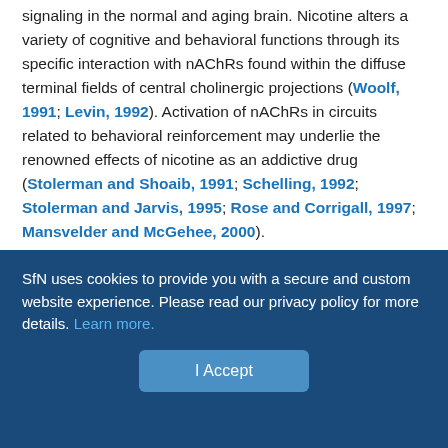signaling in the normal and aging brain. Nicotine alters a variety of cognitive and behavioral functions through its specific interaction with nAChRs found within the diffuse terminal fields of central cholinergic projections (Woolf, 1991; Levin, 1992). Activation of nAChRs in circuits related to behavioral reinforcement may underlie the renowned effects of nicotine as an addictive drug (Stolerman and Shoaib, 1991; Schelling, 1992; Stolerman and Jarvis, 1995; Rose and Corrigall, 1997; Mansvelder and McGehee, 2000).
Nicotinic receptors are found in the cell bodies, dendrites, and within the presynaptic domains of neurons. Recent electrophysiological studies have provided direct evidence that nAChRs mediate synaptic transmission at central synapses (for review, see Jones et al., 1999). In addition, nAChRs are targeted to synaptic terminal and
SfN uses cookies to provide you with a secure and custom website experience. Please read our privacy policy for more details. Learn more.